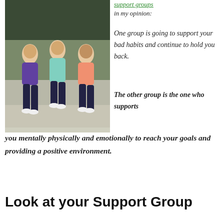[Figure (photo): Three women in athletic wear walking/jogging together in what appears to be an outdoor gym or training area. Left woman wears purple top and dark pants, middle woman wears light blue top and dark capri pants, right woman wears pink/coral top and dark pants.]
support groups in my opinion:
One group is going to support your bad habits and continue to hold you back.
The other group is the one who supports you mentally physically and emotionally to reach your goals and providing a positive environment.
Look at your Support Group